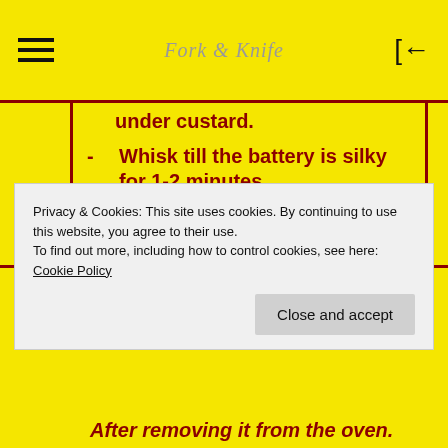Fork & Knife (logo/nav bar)
under custard.
Whisk till the battery is silky for 1-2 minutes.
Add in cubed challah bread.
Gently toss and allow to soak for 30 minutes.
Toss again.
Privacy & Cookies: This site uses cookies. By continuing to use this website, you agree to their use.
To find out more, including how to control cookies, see here:
Cookie Policy
Close and accept
After removing it from the oven.